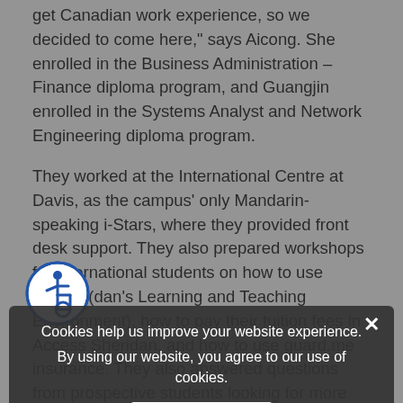get Canadian work experience, so we decided to come here," says Aicong. She enrolled in the Business Administration – Finance diploma program, and Guangjin enrolled in the Systems Analyst and Network Engineering diploma program.
They worked at the International Centre at Davis, as the campus' only Mandarin-speaking i-Stars, where they provided front desk support. They also prepared workshops for international students on how to use SLATE (dan's Learning and Teaching Environment), how to pay their tuition fees in Access Sheridan, and how to use guard.me insurance. They also answered questions from prospective students looking for more information about Sheridan's programs and courses, including from Chinese students overseas who are thinking about enrolling at